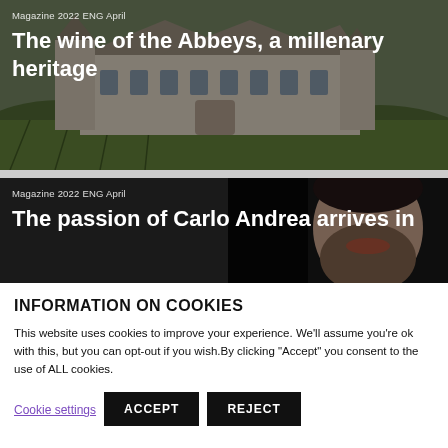[Figure (photo): Photo of a French château/abbey surrounded by vineyards with green hills in background, overlaid with article card showing magazine tag and title text]
Magazine 2022 ENG April
The wine of the Abbeys, a millenary heritage
[Figure (photo): Dark close-up portrait photo of a bearded man's face, overlaid with article card showing magazine tag and partial title text]
Magazine 2022 ENG April
The passion of Carlo Andrea arrives in
INFORMATION ON COOKIES
This website uses cookies to improve your experience. We'll assume you're ok with this, but you can opt-out if you wish.By clicking "Accept" you consent to the use of ALL cookies.
Cookie settings
ACCEPT
REJECT